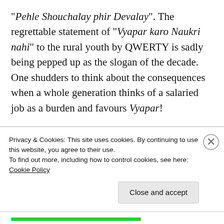“Pehle Shouchalay phir Devalay”. The regrettable statement of “Vyapar karo Naukri nahi” to the rural youth by QWERTY is sadly being pepped up as the slogan of the decade. One shudders to think about the consequences when a whole generation thinks of a salaried job as a burden and favours Vyapar!

Acknowledged as amongst the most powerful leaders in the world, Narendra Modi received a pittance for his pay, only higher than that of his Chinese counterpart. His assets would hover
Privacy & Cookies: This site uses cookies. By continuing to use this website, you agree to their use.
To find out more, including how to control cookies, see here: Cookie Policy
Close and accept